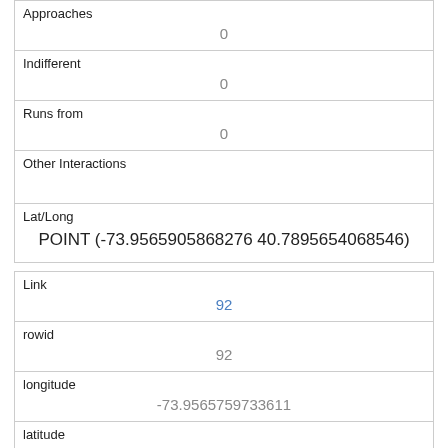| Approaches | 0 |
| Indifferent | 0 |
| Runs from | 0 |
| Other Interactions |  |
| Lat/Long | POINT (-73.9565905868276 40.7895654068546) |
| Link | 92 |
| rowid | 92 |
| longitude | -73.9565759733611 |
| latitude | 40.7992461674802 |
| Unique Squirrel ID | 42C-AM-1007-02 |